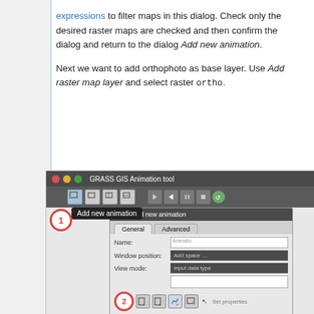expressions to filter maps in this dialog. Check only the desired raster maps are checked and then confirm the dialog and return to the dialog Add new animation.
Next we want to add orthophoto as base layer. Use Add raster map layer and select raster ortho.
[Figure (screenshot): Screenshot of GRASS GIS Animation tool showing the toolbar with 'Add new animation' tooltip, and below it an 'Add new animation' dialog with General and Advanced tabs, Name and Window position fields, and a second toolbar row with map layer buttons (circle label 1 on main toolbar, circle label 2 on inner toolbar). An 'Add space' overlay dialog is partially visible.]